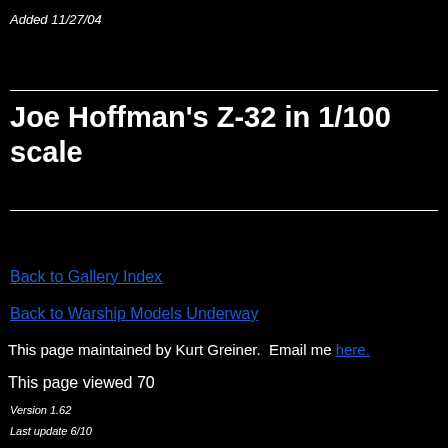Added 11/27/04
Joe Hoffman's Z-32 in 1/100 scale
Back to Gallery Index
Back to Warship Models Underway
This page maintained by Kurt Greiner.  Email me here.
This page viewed 70
Version 1.62
Last update 6/10